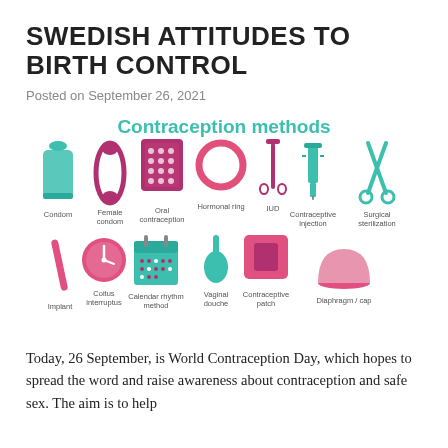SWEDISH ATTITUDES TO BIRTH CONTROL
Posted on September 26, 2021
[Figure (infographic): Infographic titled 'Contraception methods' showing icons and labels for 13 contraception methods in two rows: Row 1: Condom (teal), Female condom (dark pink), Oral contraception (dark pink), Hormonal ring (pink outline), IUD (dark pink), Contraceptive injection (teal), Surgical sterilization (teal). Row 2: Implant (dark pink), Coitus interruptus (pink clock), Calendar rhythm method (teal calendar), Vaginal douche (teal), Contraceptive patch (dark pink), Diaphragm / cap (pink).]
Today, 26 September, is World Contraception Day, which hopes to spread the word and raise awareness about contraception and safe sex. The aim is to help